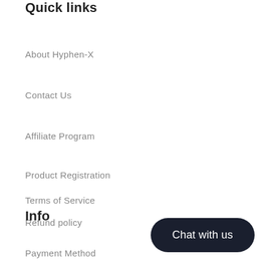Quick links
About Hyphen-X
Contact Us
Affiliate Program
Product Registration
Terms of Service
Refund policy
Info
Payment Method
Chat with us